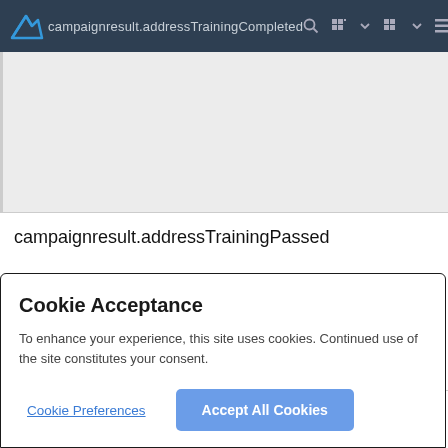campaignresult.addressTrainingCompleted
campaignresult.addressTrainingPassed
Cookie Acceptance
To enhance your experience, this site uses cookies. Continued use of the site constitutes your consent.
Cookie Preferences
Accept All Cookies